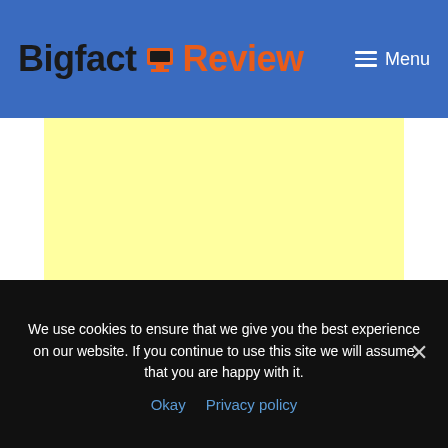Bigfact Review — Menu
[Figure (other): Light yellow advertisement placeholder block]
We use cookies to ensure that we give you the best experience on our website. If you continue to use this site we will assume that you are happy with it.
Okay   Privacy policy